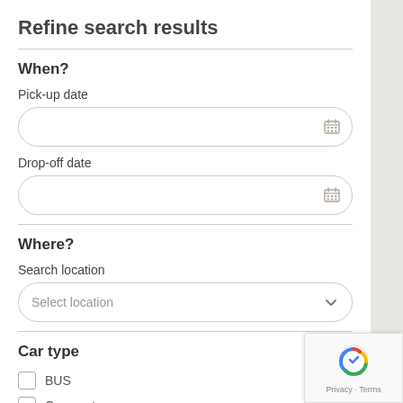Refine search results
When?
Pick-up date
[Figure (other): Empty date input field with calendar icon]
Drop-off date
[Figure (other): Empty date input field with calendar icon]
Where?
Search location
[Figure (other): Dropdown selector with placeholder 'Select location' and chevron icon]
Car type
BUS
Compact